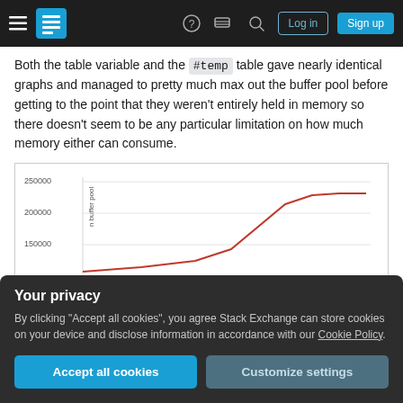Stack Exchange navigation bar with hamburger, logo, help, chat, search, Log in, Sign up
Both the table variable and the #temp table gave nearly identical graphs and managed to pretty much max out the buffer pool before getting to the point that they weren't entirely held in memory so there doesn't seem to be any particular limitation on how much memory either can consume.
[Figure (line-chart): Line chart showing buffer pool usage (y-axis: n buffer pool, values ~150000 to ~230000) as data size increases, with a red line rising steeply then leveling off. Y-axis labels: 150000, 200000, 250000.]
Your privacy
By clicking "Accept all cookies", you agree Stack Exchange can store cookies on your device and disclose information in accordance with our Cookie Policy.
Accept all cookies
Customize settings
Share